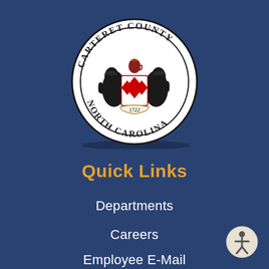[Figure (logo): Carteret County North Carolina official county seal. Circular seal with text 'CARTERET COUNTY' along the top arc and 'NORTH CAROLINA' along the bottom arc, featuring a heraldic coat of arms with two black bears/lions supporting a shield with red and white diamond pattern, a red crowned lion on top, and a banner with '1722' at the bottom. Black border ring around white background.]
Quick Links
Departments
Careers
Employee E-Mail
[Figure (illustration): Accessibility icon button — circular beige/cream background with a stylized human figure (wheelchair accessibility symbol style) in the center, positioned in the bottom right corner.]